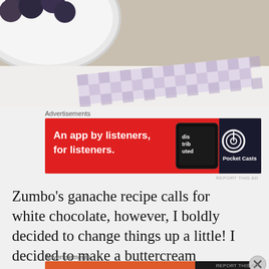[Figure (photo): Close-up photo of a white bowl with dark blueberries, brown kraft paper background, and a piece of purple and white gingham/checkered washi tape or ribbon in the foreground.]
Advertisements
[Figure (other): Advertisement banner for Pocket Casts: red background with phone showing 'distributed' text, white text 'An app by listeners, for listeners.' and Pocket Casts logo on right.]
REPORT THIS AD
Zumbo's ganache recipe calls for white chocolate, however, I boldly decided to change things up a little! I decided to make a buttercream instead of a ganache, I'm not entirely sure why I decided to do this, but it worked. I
Advertisements
[Figure (other): Advertisement banner for DuckDuckGo: orange-red background, white bold text 'Search, browse, and email with more privacy.' with 'All in One Free App' button, and DuckDuckGo logo on right with dark background.]
REPORT THIS AD